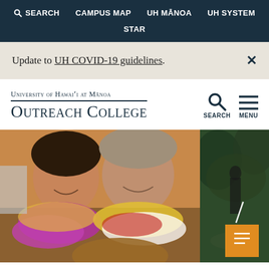SEARCH  CAMPUS MAP  UH MĀNOA  UH SYSTEM  STAR
Update to UH COVID-19 guidelines.
University of Hawaiʻi at Mānoa Outreach College
[Figure (photo): Two people wearing colorful leis, smiling, one holding a ukulele. Partial second photo on the right showing outdoor scene with person and orange box icon.]